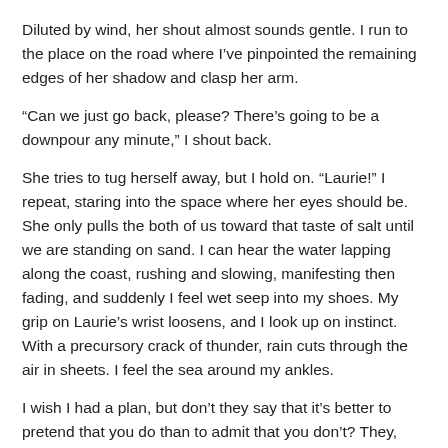Diluted by wind, her shout almost sounds gentle. I run to the place on the road where I've pinpointed the remaining edges of her shadow and clasp her arm.
“Can we just go back, please? There’s going to be a downpour any minute,” I shout back.
She tries to tug herself away, but I hold on. “Laurie!” I repeat, staring into the space where her eyes should be. She only pulls the both of us toward that taste of salt until we are standing on sand. I can hear the water lapping along the coast, rushing and slowing, manifesting then fading, and suddenly I feel wet seep into my shoes. My grip on Laurie’s wrist loosens, and I look up on instinct. With a precursory crack of thunder, rain cuts through the air in sheets. I feel the sea around my ankles.
I wish I had a plan, but don’t they say that it’s better to pretend that you do than to admit that you don’t? They, they, they. I’ve heard it so many times. Don’t they say they know the most probable cause of catastrophe through selective determination, but really, do they know any more than the rest of us? I wish they did. I wish they could tell me how.
Laurie is yelling again, and I wish she would turn to me again, only me, but she’s also looking for a path, underneath all that suave bitterness.